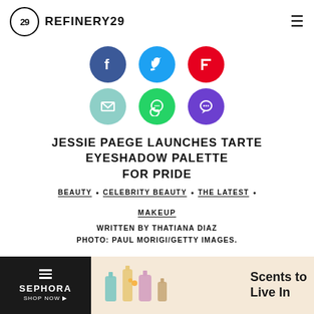[Figure (logo): Refinery29 logo with circle containing '29' and hamburger menu icon]
[Figure (infographic): Social sharing icons: Facebook (blue), Twitter (blue), Flipboard (red), Email (teal), WhatsApp (green), Chat (purple)]
JESSIE PAEGE LAUNCHES TARTE EYESHADOW PALETTE FOR PRIDE
BEAUTY • CELEBRITY BEAUTY • THE LATEST •
MAKEUP
WRITTEN BY THATIANA DIAZ
PHOTO: PAUL MORIGI/GETTY IMAGES.
[Figure (photo): Sephora advertisement banner: 'Scents to Live In' with perfume bottle illustrations on tan background]